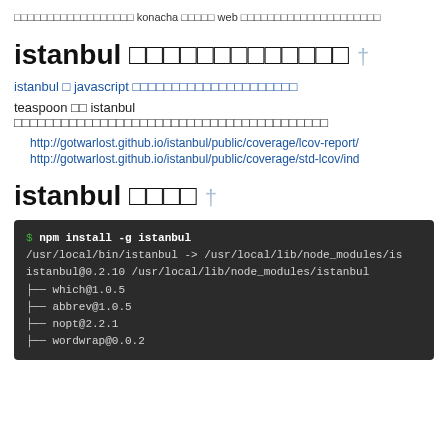□□□□□□□□□□□□□□□□□□ konacha □□□□□ web □□□□□□□□□□□□□□□□□□□□□
istanbul □□□□□□□□□□□□□ †
istanbul □ javascript □□□□□□□□□□□□□□□□□□□□□
teaspoon □□ istanbul □□□□□□□□□□□□□□□□□□□□□□□□□□□□□□□□□□□□□□□□
http://gotwarlost.github.io/istanbul/public/coverage/lcov-report/
http://gotwarlost.github.io/istanbul/public/coverage/std-lcov/ind
istanbul □□□□ †
[Figure (screenshot): Terminal showing npm install -g istanbul command with output listing dependencies: which@1.0.5, abbrev@1.0.5, nopt@2.2.1, wordwrap@0.0.2]